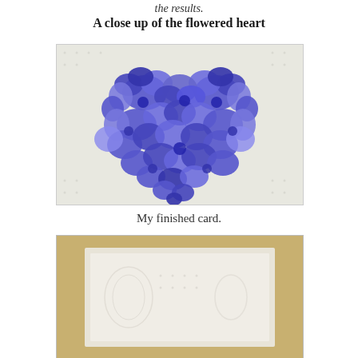the results.
A close up of the flowered heart
[Figure (photo): Close up photo of a heart shape made from blue and purple paper flower cutouts arranged on a white textured background]
My finished card.
[Figure (photo): Partial view of a finished greeting card with white embossed surface, shown at bottom of page]